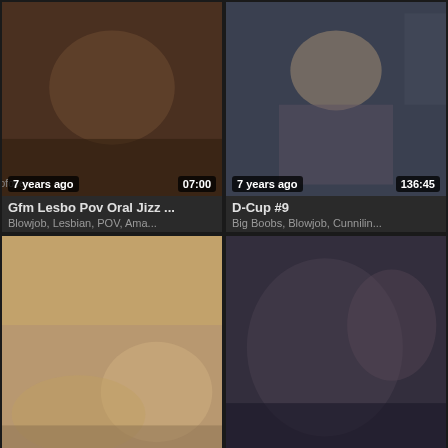[Figure (screenshot): Video thumbnail grid showing adult content video listings with thumbnails, titles, tags, timestamps and age labels]
Gfm Lesbo Pov Oral Jizz ...
Blowjob, Lesbian, POV, Ama...
D-Cup #9
Big Boobs, Blowjob, Cunnilin...
Tall lesbian fucks her little...
Lesbian, Strapon, Hardcore
Sexy girl used by two les...
Lesbian, Threesome, Strapo...